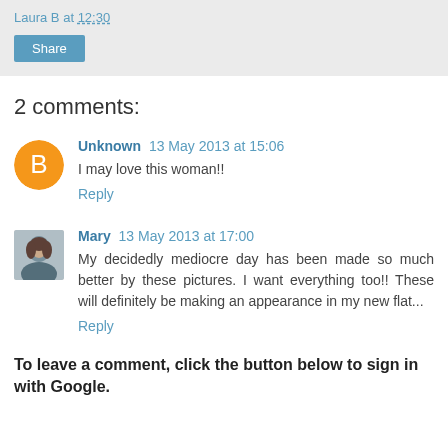Laura B at 12:30
Share
2 comments:
Unknown 13 May 2013 at 15:06
I may love this woman!!
Reply
Mary 13 May 2013 at 17:00
My decidedly mediocre day has been made so much better by these pictures. I want everything too!! These will definitely be making an appearance in my new flat...
Reply
To leave a comment, click the button below to sign in with Google.